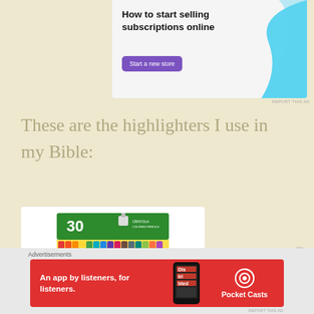[Figure (infographic): Advertisement banner: 'How to start selling subscriptions online' with a purple 'Start a new store' button and teal decorative shape on the right]
These are the highlighters I use in my Bible:
[Figure (photo): Product image of a 30-count pack of Crayola or similar colored crayons/markers in rainbow colors with a green package]
[Figure (infographic): Bottom advertisement: 'An app by listeners, for listeners.' with Pocket Casts logo on a red background, showing a phone]